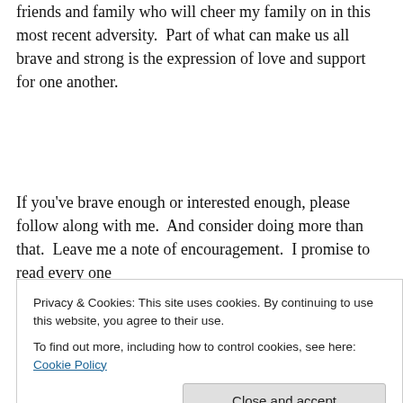friends and family who will cheer my family on in this most recent adversity.  Part of what can make us all brave and strong is the expression of love and support for one another.
If you've brave enough or interested enough, please follow along with me.  And consider doing more than that.  Leave me a note of encouragement.  I promise to read every one of them...
Privacy & Cookies: This site uses cookies. By continuing to use this website, you agree to their use.
To find out more, including how to control cookies, see here: Cookie Policy
Love,